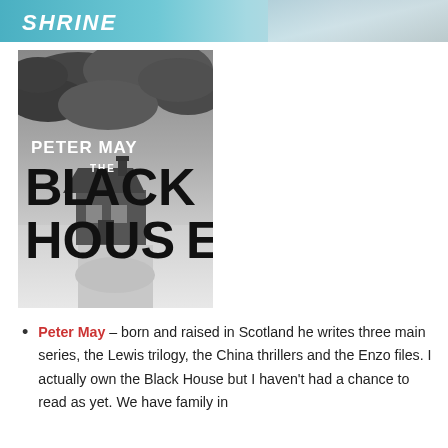[Figure (photo): Top strip showing partial book cover or banner with teal/cyan colors and partial text visible]
[Figure (photo): Book cover for 'The Black House' by Peter May — black and white dramatic sky with a stone cottage, bold dark text reading THE BLACK HOUSE and author name PETER MAY in white]
Peter May – born and raised in Scotland he writes three main series, the Lewis trilogy, the China thrillers and the Enzo files. I actually own the Black House but I haven't had a chance to read as yet. We have family in